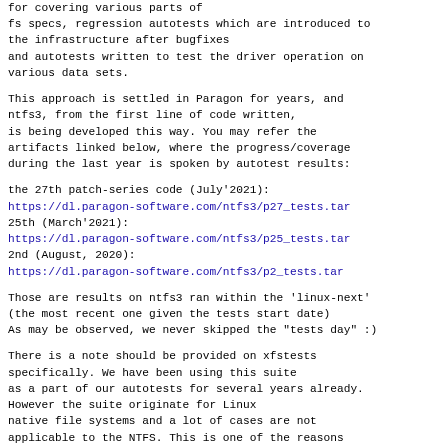for covering various parts of fs specs, regression autotests which are introduced to the infrastructure after bugfixes and autotests written to test the driver operation on various data sets.
This approach is settled in Paragon for years, and ntfs3, from the first line of code written, is being developed this way. You may refer the artifacts linked below, where the progress/coverage during the last year is spoken by autotest results:
the 27th patch-series code (July'2021):
https://dl.paragon-software.com/ntfs3/p27_tests.tar
25th (March'2021):
https://dl.paragon-software.com/ntfs3/p25_tests.tar
2nd (August, 2020):
https://dl.paragon-software.com/ntfs3/p2_tests.tar
Those are results on ntfs3 ran within the 'linux-next' (the most recent one given the tests start date) As may be observed, we never skipped the "tests day" :)
There is a note should be provided on xfstests specifically. We have been using this suite as a part of our autotests for several years already. However the suite originate for Linux native file systems and a lot of cases are not applicable to the NTFS. This is one of the reasons why some of "red-flag" failures are there (e.g. generic/475) - they were excluded at some point of time